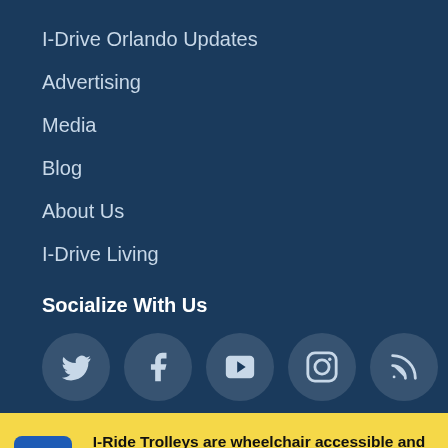I-Drive Orlando Updates
Advertising
Media
Blog
About Us
I-Drive Living
Socialize With Us
[Figure (infographic): Social media icons: Twitter, Facebook, YouTube, Instagram, RSS feed]
I-Ride Trolleys are wheelchair accessible and operate DAILY from 8am – 10:30pm (reduced fleet).
No Thanks
Read Now